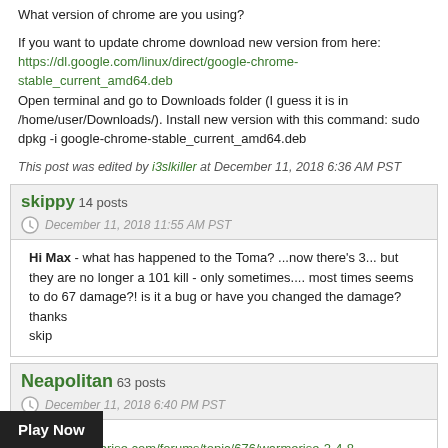What version of chrome are you using?
If you want to update chrome download new version from here: https://dl.google.com/linux/direct/google-chrome-stable_current_amd64.deb Open terminal and go to Downloads folder (I guess it is in /home/user/Downloads/). Install new version with this command: sudo dpkg -i google-chrome-stable_current_amd64.deb
This post was edited by i3slkiller at December 11, 2018 6:36 AM PST
skippy   14 posts
December 11, 2018 11:55 AM PST
Hi Max - what has happened to the Toma? ...now there's 3... but they are no longer a 101 kill - only sometimes.... most times seems to do 67 damage?! is it a bug or have you changed the damage?
thanks
skip
Neapolitan   63 posts
December 11, 2018 6:40 PM PST
https://warmerise.com/forums/topic/676/warmerise-2-4-8
way Tomahawks deal the damage (Now it has to travel to deal 100% of the damage, otherwise it will deal %